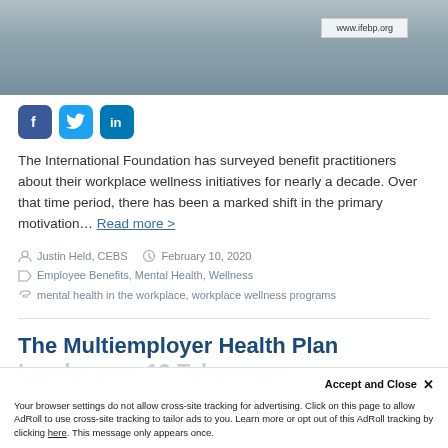[Figure (photo): Hero image of medical/wellness theme with www.ifebp.org URL box overlay]
[Figure (infographic): Social media share buttons: Facebook (blue), Twitter (blue), LinkedIn (blue)]
The International Foundation has surveyed benefit practitioners about their workplace wellness initiatives for nearly a decade. Over that time period, there has been a marked shift in the primary motivation… Read more >
Justin Held, CEBS   February 10, 2020
Employee Benefits, Mental Health, Wellness
mental health in the workplace, workplace wellness programs
The Multiemployer Health Plan Landscape: 10 Takeaways
Your browser settings do not allow cross-site tracking for advertising. Click on this page to allow AdRoll to use cross-site tracking to tailor ads to you. Learn more or opt out of this AdRoll tracking by clicking here. This message only appears once.